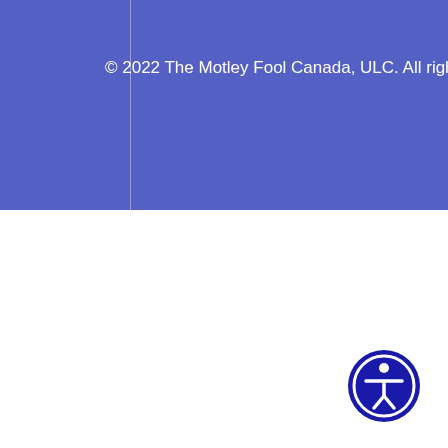© 2022 The Motley Fool Canada, ULC. All rights reserved.
[Figure (logo): Accessibility icon — circular badge with blue background and white person with arms outstretched symbol]